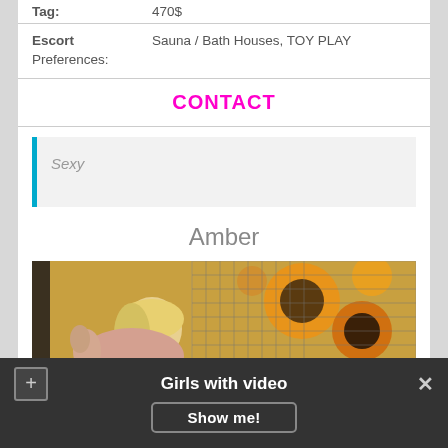Tag: 470$
Escort Preferences: Sauna / Bath Houses, TOY PLAY
CONTACT
Sexy
Amber
[Figure (photo): Blonde woman photographed from behind near a fence, with colorful sunflower artwork in background]
Girls with video
Show me!